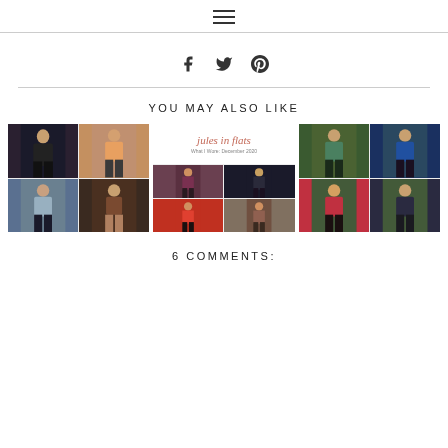≡ (hamburger menu icon)
[Figure (illustration): Social share icons: Facebook (f), Twitter (bird), Pinterest (P)]
YOU MAY ALSO LIKE
[Figure (photo): Three blog post thumbnail images side by side: left shows a 2x2 collage of women's outfits in a fitting room, center shows a Jules in Flats blog header with 'What I Wore: December 2020' and outfit photos, right shows a 2x2 collage of women's outfits outdoors with green ivy wall]
6 COMMENTS: